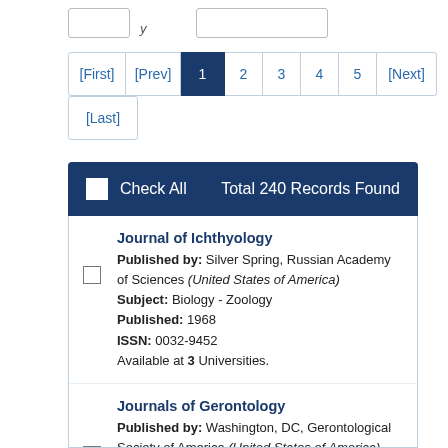[Figure (screenshot): Partial top navigation with two input/button boxes and a label, cropped at top]
[First] [Prev] 1 2 3 4 5 [Next] [Last] — pagination controls
Check All   Total 240 Records Found
Journal of Ichthyology
Published by: Silver Spring, Russian Academy of Sciences (United States of America)
Subject: Biology - Zoology
Published: 1968
ISSN: 0032-9452
Available at 3 Universities.
Journals of Gerontology
Published by: Washington, DC, Gerontological Society of America (United States of America)
Subject: Gerontology And Geriatrics
Published: 1946
ISSN: 0022-1422
Available at 8 Universities.